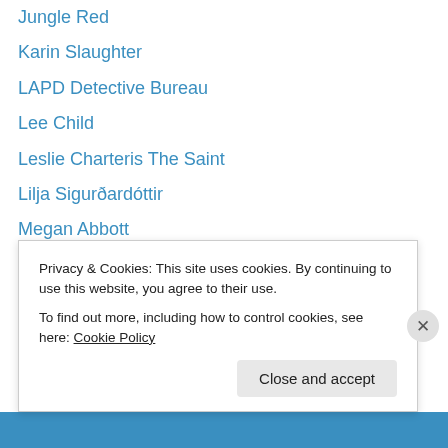Jungle Red
Karin Slaughter
LAPD Detective Bureau
Lee Child
Leslie Charteris The Saint
Lilja Sigurðardóttir
Megan Abbott
Michael Connelly
Mysterious Press
Mystery Writers of America
Noir City
Patricia Cornwell
Paul D. Marks
Rap Sheet
Privacy & Cookies: This site uses cookies. By continuing to use this website, you agree to their use.
To find out more, including how to control cookies, see here: Cookie Policy
Close and accept